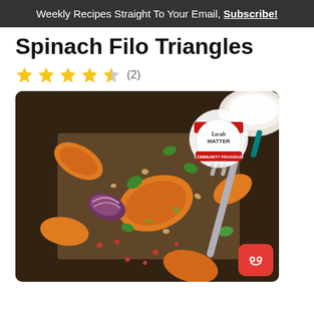Weekly Recipes Straight To Your Email, Subscribe!
Spinach Filo Triangles
★★★★½ (2)
[Figure (photo): Overhead photo of roasted vegetables including pumpkin wedges, red onion, herbs, pomegranate seeds, and nuts on a baking tray, with a fork/spatula and a bowl of cream in background. IGA Locals Matter Community Program badge overlay in top right.]